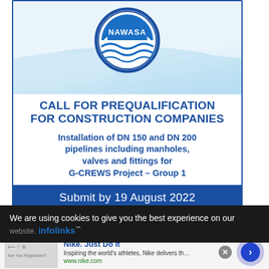[Figure (logo): NAWASA circular logo with blue ring and water wave graphic]
CALL FOR PREQUALIFICATION FOR CONSTRUCTION COMPANIES
Installation of DN 150 and DN 200 pipelines including manholes, valves and fittings for G-CREWS Project – Group 1
Submit by 19 August 2022
We are using cookies to give you the best experience on our
infolinks
Nike. Just Do It
Inspiring the world's athletes, Nike delivers the deals
www.nike.com